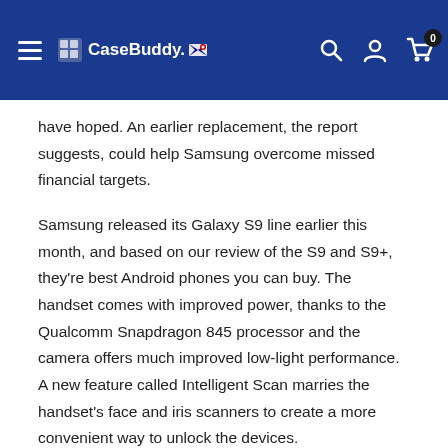CaseBuddy
have hoped. An earlier replacement, the report suggests, could help Samsung overcome missed financial targets.
Samsung released its Galaxy S9 line earlier this month, and based on our review of the S9 and S9+, they're best Android phones you can buy. The handset comes with improved power, thanks to the Qualcomm Snapdragon 845 processor and the camera offers much improved low-light performance. A new feature called Intelligent Scan marries the handset's face and iris scanners to create a more convenient way to unlock the devices.
MORE: Galaxy Note 9 Will Have What Galaxy S9 Doesn't